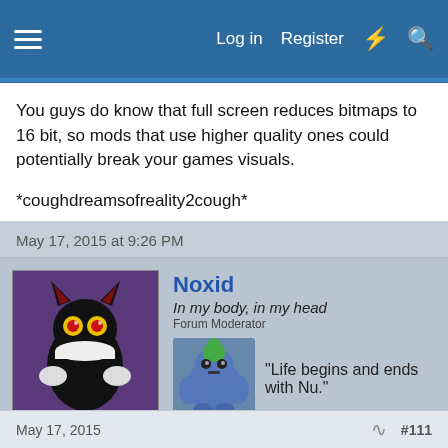Log in  Register
You guys do know that full screen reduces bitmaps to 16 bit, so mods that use higher quality ones could potentially break your games visuals.

*coughdreamsofreality2cough*
May 17, 2015 at 9:26 PM
[Figure (illustration): Avatar of user Noxid - cartoon cat/demon character on purple background]
Noxid
In my body, in my head
Forum Moderator
"Life begins and ends with Nu."
Join Date: Aug 28, 2009
Location: The Purple Zone
Posts: 5998
May 17, 2015   #111